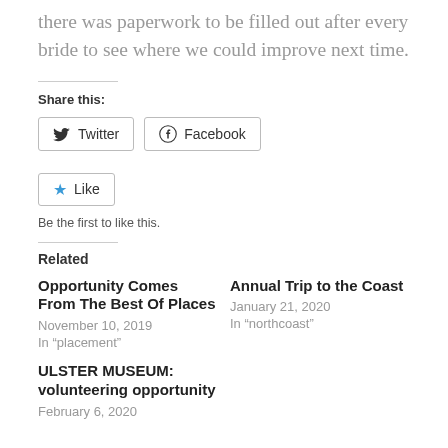there was paperwork to be filled out after every bride to see where we could improve next time.
Share this:
Twitter
Facebook
Like
Be the first to like this.
Related
Opportunity Comes From The Best Of Places
November 10, 2019
In "placement"
Annual Trip to the Coast
January 21, 2020
In "northcoast"
ULSTER MUSEUM: volunteering opportunity
February 6, 2020